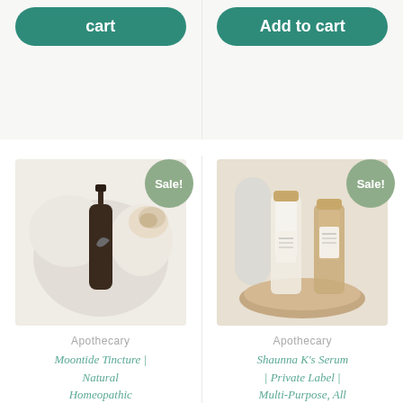[Figure (screenshot): Add to cart button (partial, left column) for a product listing on an e-commerce website, teal rounded rectangle button]
[Figure (screenshot): Add to cart button (right column) for a product listing on an e-commerce website, teal rounded rectangle button with text 'Add to cart']
[Figure (photo): Product photo of Moontide Tincture dark glass dropper bottle on white fluffy surface with a dried rose, with a sage green Sale! badge]
Apothecary
Moontide Tincture | Natural Homeopathic Remedies
[Figure (photo): Product photo of Shaunna K's Serum bottles with gold caps on a wooden tray, with a sage green Sale! badge]
Apothecary
Shaunna K's Serum | Private Label | Multi-Purpose, All Body Skin Perfecting Serum